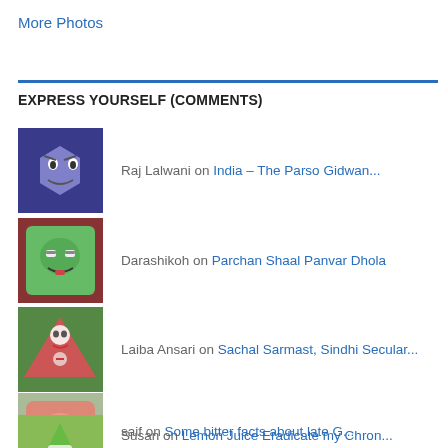More Photos
EXPRESS YOURSELF (COMMENTS)
Raj Lalwani on India – The Parso Gidwan...
Darashikoh on Parchan Shaal Panvar Dhola
Laiba Ansari on Sachal Sarmast, Sindhi Secular...
Susan on Lemon Juice Eradicate my Chron...
Chitkara University... on Pakistani universities climbin...
saif on Some bitter facts about late G...